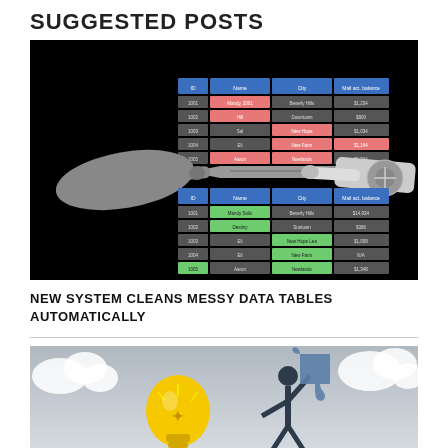SUGGESTED POSTS
[Figure (illustration): Two hands pointing at a data table on a black background — one human hand from the left and one robotic hand from the right. The table shows messy (pink-highlighted) rows on top and cleaned (green-highlighted) rows on the bottom, illustrating automatic data cleaning.]
NEW SYSTEM CLEANS MESSY DATA TABLES AUTOMATICALLY
[Figure (illustration): Illustration showing a yellow light bulb, a dark silhouette figure holding a puzzle piece, and white cloud shapes on a grey gradient background — representing ideas and problem solving.]